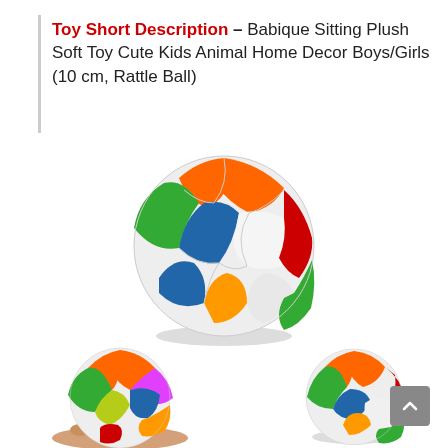Toy Short Description – Babique Sitting Plush Soft Toy Cute Kids Animal Home Decor Boys/Girls (10 cm, Rattle Ball)
[Figure (photo): Large colorful plush rattle ball toy with orange, blue, green, white, red, and yellow panels]
[Figure (photo): Small colorful plush rattle ball held in a human hand, with orange, green, yellow, pink, and blue panels]
[Figure (photo): Smaller colorful plush rattle ball toy with orange, blue, white, green, and yellow panels]